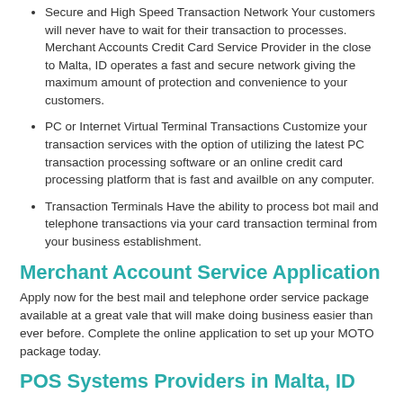Secure and High Speed Transaction Network Your customers will never have to wait for their transaction to processes. Merchant Accounts Credit Card Service Provider in the close to Malta, ID operates a fast and secure network giving the maximum amount of protection and convenience to your customers.
PC or Internet Virtual Terminal Transactions Customize your transaction services with the option of utilizing the latest PC transaction processing software or an online credit card processing platform that is fast and availble on any computer.
Transaction Terminals Have the ability to process bot mail and telephone transactions via your card transaction terminal from your business establishment.
Merchant Account Service Application
Apply now for the best mail and telephone order service package available at a great vale that will make doing business easier than ever before. Complete the online application to set up your MOTO package today.
POS Systems Providers in Malta, ID